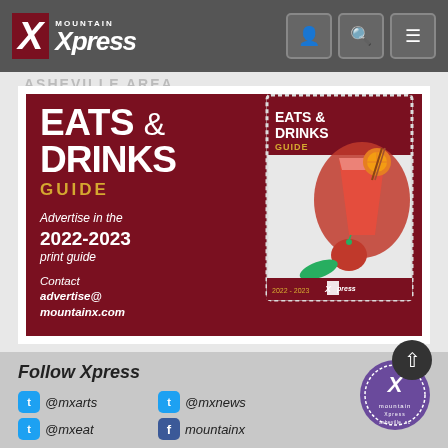Mountain Xpress
[Figure (illustration): Eats & Drinks Guide advertisement banner for Mountain Xpress 2022-2023 print guide. Dark red/maroon background with white bold text reading EATS & DRINKS GUIDE, gold text GUIDE, white italic text 'Advertise in the 2022-2023 print guide Contact advertise@mountainx.com'. Right side shows magazine cover with cocktail drink and apple.]
Follow Xpress
@mxarts
@mxnews
@mxeat
mountainx